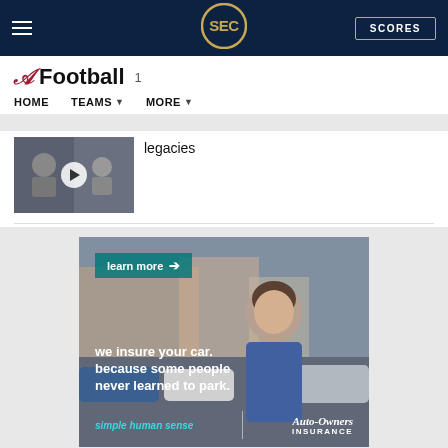SEC Football - HOME | TEAMS | MORE | SCORES
Football 1
legacies
[Figure (screenshot): Thumbnail image of two people with a video play button overlay]
[Figure (photo): Auto-Owners Insurance advertisement showing a woman smiling near cars with text: learn more | we insure your car. because some people never learned to park. | simple human sense | Auto-Owners Insurance]